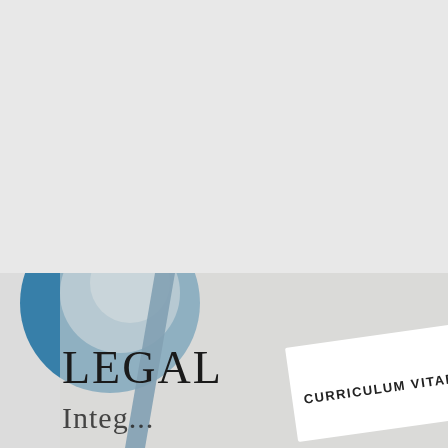[Figure (photo): Bottom portion of a legal document cover page showing the word LEGAL in large serif font, partially visible decorative background with blue and white tones, and a white card/paper with text CURRICULUM VITAE printed in bold dark letters, angled slightly.]